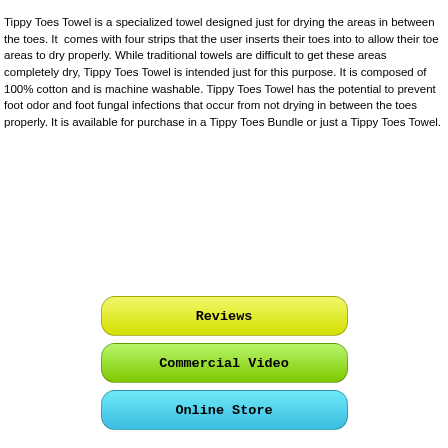Tippy Toes Towel is a specialized towel designed just for drying the areas in between the toes. It comes with four strips that the user inserts their toes into to allow their toe areas to dry properly. While traditional towels are difficult to get these areas completely dry, Tippy Toes Towel is intended just for this purpose. It is composed of 100% cotton and is machine washable. Tippy Toes Towel has the potential to prevent foot odor and foot fungal infections that occur from not drying in between the toes properly. It is available for purchase in a Tippy Toes Bundle or just a Tippy Toes Towel.
[Figure (other): Yellow rounded button labeled 'Reviews']
[Figure (other): Green rounded button labeled 'Commercial Video']
[Figure (other): Blue rounded button labeled 'Online Store']